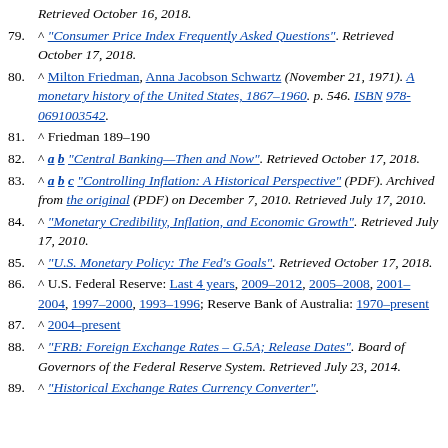Retrieved October 16, 2018.
79. ^ "Consumer Price Index Frequently Asked Questions". Retrieved October 17, 2018.
80. ^ Milton Friedman, Anna Jacobson Schwartz (November 21, 1971). A monetary history of the United States, 1867–1960. p. 546. ISBN 978-0691003542.
81. ^ Friedman 189–190
82. ^ a b "Central Banking—Then and Now". Retrieved October 17, 2018.
83. ^ a b c "Controlling Inflation: A Historical Perspective" (PDF). Archived from the original (PDF) on December 7, 2010. Retrieved July 17, 2010.
84. ^ "Monetary Credibility, Inflation, and Economic Growth". Retrieved July 17, 2010.
85. ^ "U.S. Monetary Policy: The Fed's Goals". Retrieved October 17, 2018.
86. ^ U.S. Federal Reserve: Last 4 years, 2009–2012, 2005–2008, 2001–2004, 1997–2000, 1993–1996; Reserve Bank of Australia: 1970–present
87. ^ 2004–present
88. ^ "FRB: Foreign Exchange Rates – G.5A; Release Dates". Board of Governors of the Federal Reserve System. Retrieved July 23, 2014.
89. ^ "Historical Exchange Rates Currency Converter".